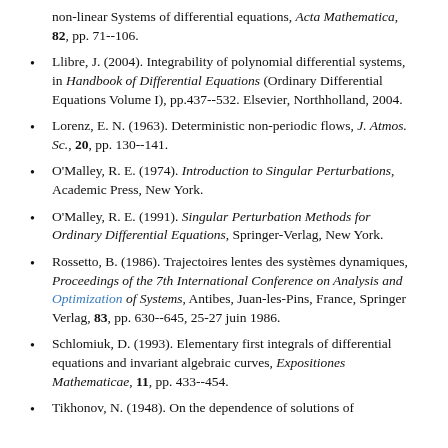non-linear Systems of differential equations, Acta Mathematica, 82, pp. 71--106.
Llibre, J. (2004). Integrability of polynomial differential systems, in Handbook of Differential Equations (Ordinary Differential Equations Volume I), pp.437--532. Elsevier, Northholland, 2004.
Lorenz, E. N. (1963). Deterministic non-periodic flows, J. Atmos. Sc., 20, pp. 130--141.
O'Malley, R. E. (1974). Introduction to Singular Perturbations, Academic Press, New York.
O'Malley, R. E. (1991). Singular Perturbation Methods for Ordinary Differential Equations, Springer-Verlag, New York.
Rossetto, B. (1986). Trajectoires lentes des systèmes dynamiques, Proceedings of the 7th International Conference on Analysis and Optimization of Systems, Antibes, Juan-les-Pins, France, Springer Verlag, 83, pp. 630--645, 25-27 juin 1986.
Schlomiuk, D. (1993). Elementary first integrals of differential equations and invariant algebraic curves, Expositiones Mathematicae, 11, pp. 433--454.
Tikhonov, N. (1948). On the dependence of solutions of